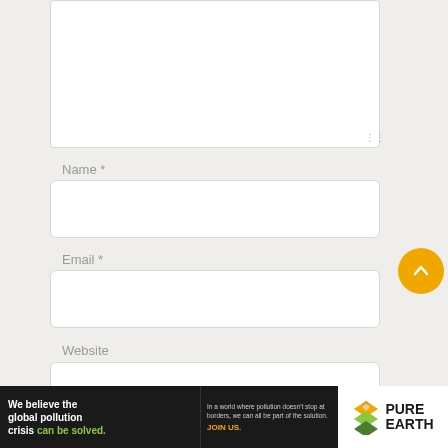[Figure (screenshot): Large comment textarea input box, white background with light gray border and resize handle at bottom right]
Name *
[Figure (screenshot): Name input field, white background with rounded corners and light gray border]
Email *
[Figure (screenshot): Email input field, white background with rounded corners and light gray border]
Website
[Figure (screenshot): Yellow circular scroll-to-top button with upward chevron arrow]
[Figure (infographic): Pure Earth advertisement banner with dark background. Left text reads 'We believe the global pollution crisis can be solved.' Right side has Pure Earth logo with diamond/arrow icon.]